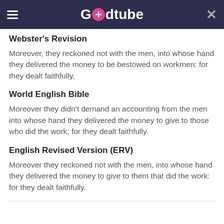Godtube
Webster's Revision
Moreover, they reckoned not with the men, into whose hand they delivered the money to be bestowed on workmen: for they dealt faithfully.
World English Bible
Moreover they didn't demand an accounting from the men into whose hand they delivered the money to give to those who did the work; for they dealt faithfully.
English Revised Version (ERV)
Moreover they reckoned not with the men, into whose hand they delivered the money to give to them that did the work: for they dealt faithfully.